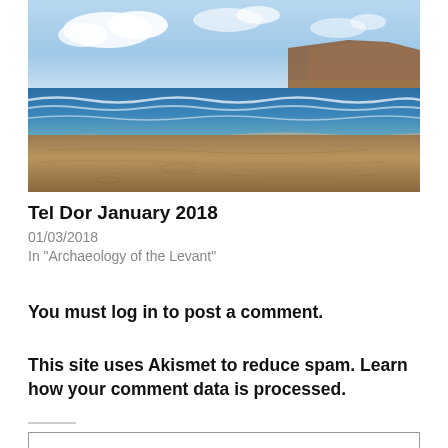[Figure (photo): Coastal beach scene with sandy shore, ocean waves, blue sky with clouds, and a rocky headland in the background.]
Tel Dor January 2018
01/03/2018
In "Archaeology of the Levant"
You must log in to post a comment.
This site uses Akismet to reduce spam. Learn how your comment data is processed.